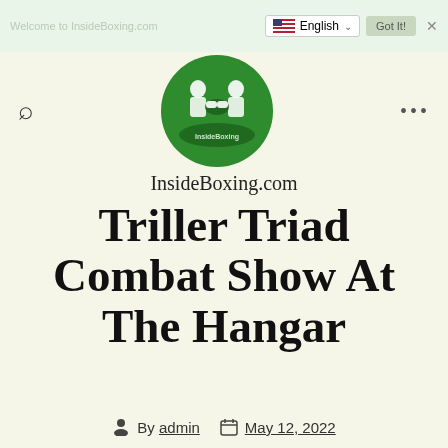Welcome to InsideBoxing.com
[Figure (logo): InsideBoxing.com circular logo with green background showing two boxers fighting]
InsideBoxing.com
Triller Triad Combat Show At The Hangar
By admin   May 12, 2022
In Boxing